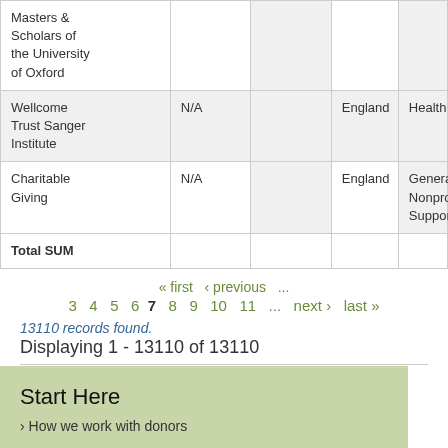| Name |  |  | Location | Category |
| --- | --- | --- | --- | --- |
| Masters & Scholars of the University of Oxford |  |  |  |  |
| Wellcome Trust Sanger Institute | N/A |  | England | Health |
| Charitable Giving | N/A |  | England | General Nonprofit Support |
| Total SUM |  |  |  |  |
« first  ‹ previous  ...
3  4  5  6  7  8  9  10  11  ...  next ›  last »
13110 records found.
Displaying 1 - 13110 of 13110
Start Here
How we work with donors